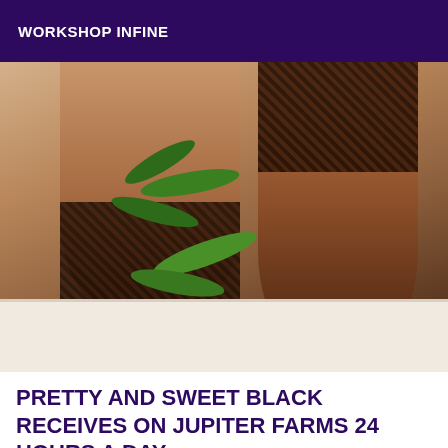WORKSHOP INFINE
[Figure (photo): Photo showing legs wearing black lace stockings near a potted green plant and white bathtub edge]
PRETTY AND SWEET BLACK RECEIVES ON JUPITER FARMS 24 HOURS A DAY